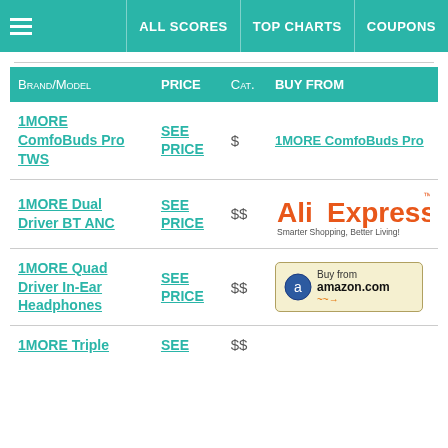ALL SCORES | TOP CHARTS | COUPONS
| Brand/Model | PRICE | Cat. | BUY FROM |
| --- | --- | --- | --- |
| 1MORE ComfoBuds Pro TWS | SEE PRICE | $ | 1MORE ComfoBuds Pro |
| 1MORE Dual Driver BT ANC | SEE PRICE | $$ | AliExpress - Smarter Shopping, Better Living! |
| 1MORE Quad Driver In-Ear Headphones | SEE PRICE | $$ | Buy from amazon.com |
| 1MORE Triple... | SEE... | $$ |  |